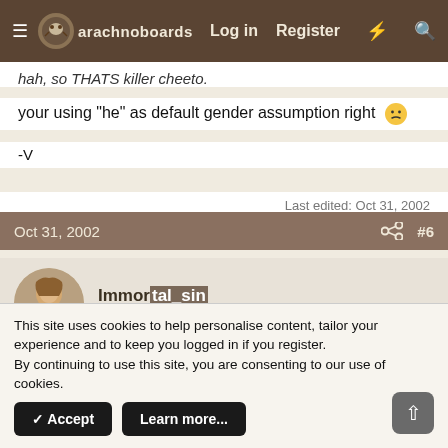arachnoboards — Log in  Register
hah, so THATS killer cheeto.
your using "he" as default gender assumption right 😐
-V
Last edited: Oct 31, 2002
Oct 31, 2002  #6
Immortal_sin
Arachno...
Hello there, why not take a few seconds to register on our forums and become part of the community? Just click here.
correct Vayu Son...I just pick something and go with it if I don't
This site uses cookies to help personalise content, tailor your experience and to keep you logged in if you register.
By continuing to use this site, you are consenting to our use of cookies.
✓ Accept    Learn more...